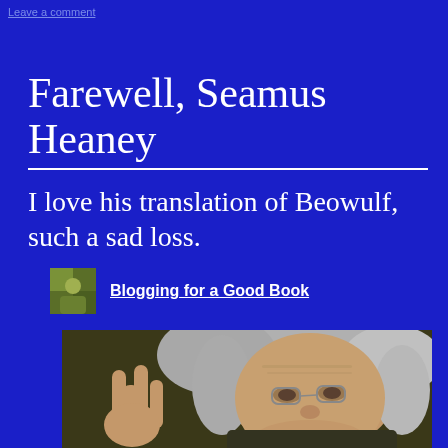Leave a comment
Farewell, Seamus Heaney
I love his translation of Beowulf, such a sad loss.
Blogging for a Good Book
[Figure (photo): Close-up photo of an elderly man with white curly hair and glasses, gesturing with his right hand raised, against a dark background.]